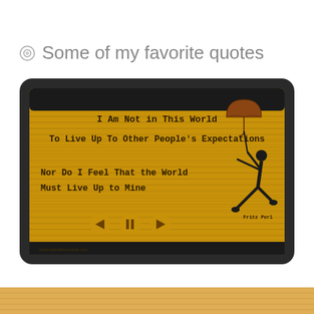Some of my favorite quotes
[Figure (screenshot): Tablet device showing a quote slideshow app with yellow wood-paneled background. Quote text reads: 'I Am Not in This World / To Live Up To Other People's Expectations / Nor Do I Feel That the World / Must Live Up to Mine' attributed to Fritz Perl. A woman silhouette holding an umbrella is shown on the right. Playback controls (back, pause, forward) are visible at the bottom. Website: www.tobreathemorwide.com]
[Figure (other): Partial yellow/orange wood texture visible at bottom of page]